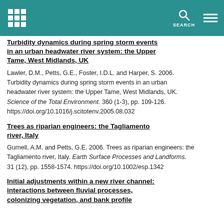SEARCH
Turbidity dynamics during spring storm events in an urban headwater river system: the Upper Tame, West Midlands, UK
Lawler, D.M., Petts, G.E., Foster, I.D.L. and Harper, S. 2006. Turbidity dynamics during spring storm events in an urban headwater river system: the Upper Tame, West Midlands, UK. Science of the Total Environment. 360 (1-3), pp. 109-126. https://doi.org/10.1016/j.scitotenv.2005.08.032
Trees as riparian engineers: the Tagliamento river, Italy
Gurnell, A.M. and Petts, G.E. 2006. Trees as riparian engineers: the Tagliamento river, Italy. Earth Surface Processes and Landforms. 31 (12), pp. 1558-1574. https://doi.org/10.1002/esp.1342
Initial adjustments within a new river channel: interactions between fluvial processes, colonizing vegetation, and bank profile development